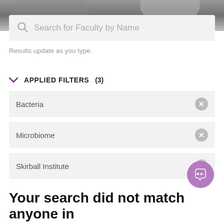[Figure (screenshot): Top photo strip showing a blurred outdoor background]
Search for Faculty by Name
Results update as you type.
APPLIED FILTERS (3)
Bacteria
Microbiome
Skirball Institute
Your search did not match anyone in